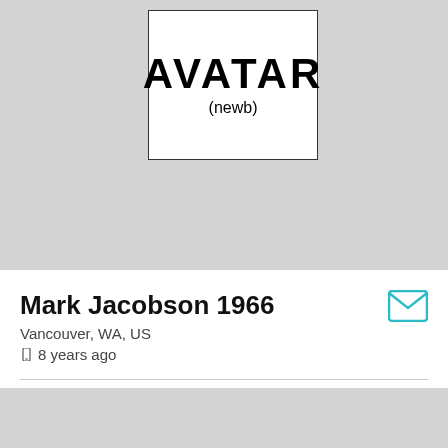[Figure (illustration): Avatar placeholder image with text 'AVATAR' in large bold letters and '(newb)' below, inside a white bordered box on gray background]
Mark Jacobson 1966
Vancouver, WA, US
8 years ago
Details